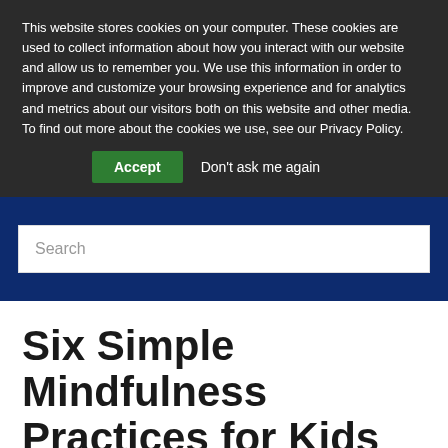This website stores cookies on your computer. These cookies are used to collect information about how you interact with our website and allow us to remember you. We use this information in order to improve and customize your browsing experience and for analytics and metrics about our visitors both on this website and other media. To find out more about the cookies we use, see our Privacy Policy.
Accept
Don't ask me again
[Figure (screenshot): Search input box on a dark navy blue background]
Six Simple Mindfulness Practices for Kids with Autism